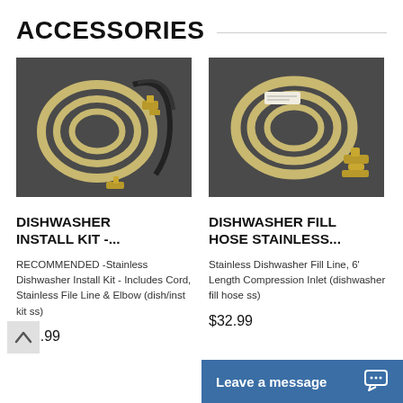ACCESSORIES
[Figure (photo): Photo of a dishwasher install kit including coiled stainless hose, black electrical cord, and brass elbow fittings on a dark background.]
[Figure (photo): Photo of a coiled stainless dishwasher fill hose with brass fittings on a dark background.]
DISHWASHER INSTALL KIT -...
DISHWASHER FILL HOSE STAINLESS...
RECOMMENDED -Stainless Dishwasher Install Kit - Includes Cord, Stainless File Line & Elbow (dish/inst kit ss)
Stainless Dishwasher Fill Line, 6' Length Compression Inlet (dishwasher fill hose ss)
$32.99
$32.99
Leave a message